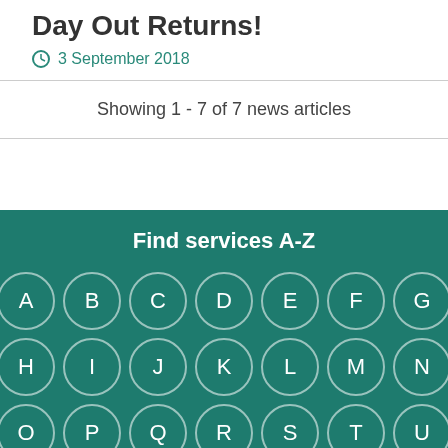Great Day of Events as the Totally Big Day Out Returns!
3 September 2018
Showing 1 - 7 of 7 news articles
Find services A-Z
[Figure (other): A-Z letter navigation grid with circular buttons for each letter A through Z on a teal background]